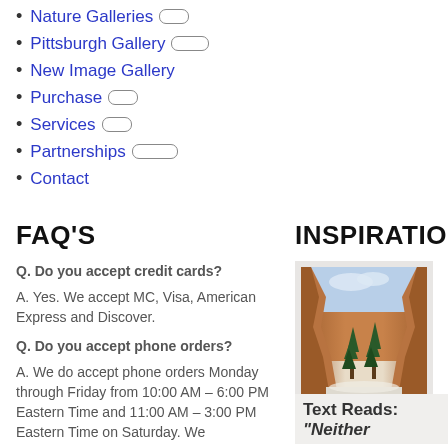Nature Galleries
Pittsburgh Gallery
New Image Gallery
Purchase
Services
Partnerships
Contact
FAQ'S
Q. Do you accept credit cards?
A. Yes. We accept MC, Visa, American Express and Discover.
Q. Do you accept phone orders?
A. We do accept phone orders Monday through Friday from 10:00 AM – 6:00 PM Eastern Time and 11:00 AM – 3:00 PM Eastern Time on Saturday. We
INSPIRATIO
[Figure (photo): Nature photo showing tall red canyon walls with pine trees in snow]
Text Reads: "Neither